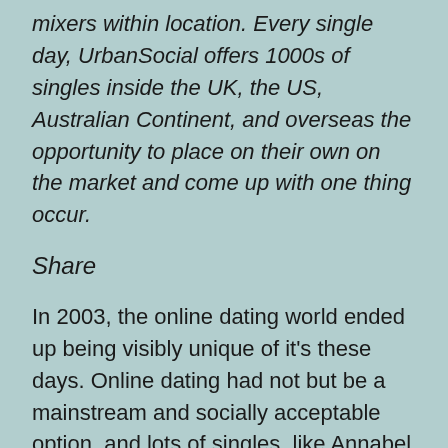mixers within location. Every single day, UrbanSocial offers 1000s of singles inside the UK, the US, Australian Continent, and overseas the opportunity to place on their own on the market and come up with one thing occur.
Share
In 2003, the online dating world ended up being visibly unique of it's these days. Online dating had not but be a mainstream and socially acceptable option, and lots of singles, like Annabel Cooney, struggled to satisfy